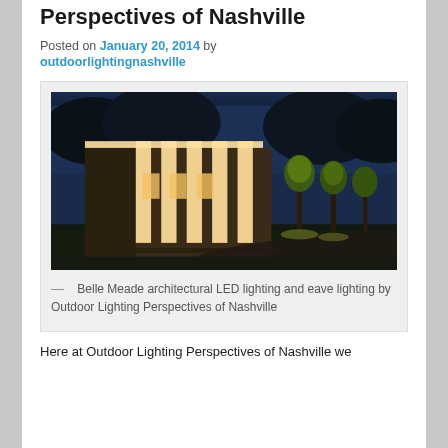Perspectives of Nashville
Posted on January 20, 2014 by outdoorlightingnashville
[Figure (photo): Night-time photo of a Belle Meade mansion with architectural LED lighting and eave lighting. The building features tall white columns illuminated from below, ivy on brick walls, and several trees lit with uplights along a driveway.]
— Belle Meade architectural LED lighting and eave lighting by Outdoor Lighting Perspectives of Nashville
Here at Outdoor Lighting Perspectives of Nashville we